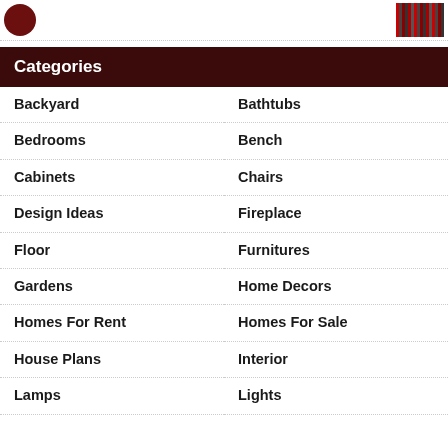[Figure (logo): Dark red circular logo top left, and a bookshelf thumbnail image top right]
Categories
Backyard
Bathtubs
Bedrooms
Bench
Cabinets
Chairs
Design Ideas
Fireplace
Floor
Furnitures
Gardens
Home Decors
Homes For Rent
Homes For Sale
House Plans
Interior
Lamps
Lights